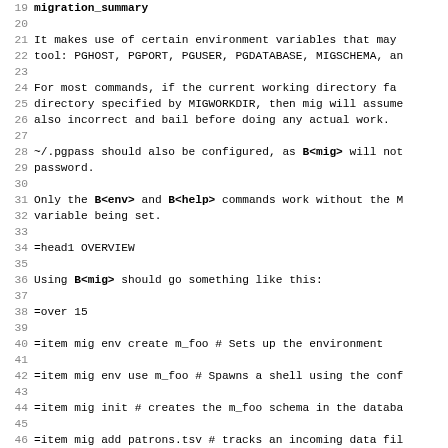19 migration_summary
20
21 It makes use of certain environment variables that may
22 tool: PGHOST, PGPORT, PGUSER, PGDATABASE, MIGSCHEMA, an
23
24 For most commands, if the current working directory fa
25 directory specified by MIGWORKDIR, then mig will assume
26 also incorrect and bail before doing any actual work.
27
28 ~/.pgpass should also be configured, as B<mig> will not
29 password.
30
31 Only the B<env> and B<help> commands work without the M
32 variable being set.
33
34 =head1 OVERVIEW
35
36 Using B<mig> should go something like this:
37
38 =over 15
39
40 =item mig env create m_foo # Sets up the environment
41
42 =item mig env use m_foo # Spawns a shell using the conf
43
44 =item mig init # creates the m_foo schema in the databa
45
46 =item mig add patrons.tsv # tracks an incoming data fil
47
48 =item mig iconv patrons.tsv # convert it to UTF8, creat
49
50 =item mig clean patrons.tsv # cleans the file, creating
51